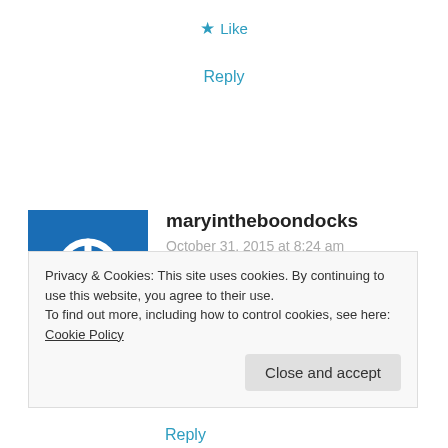★ Like
Reply
[Figure (logo): Blue square avatar with white power button icon for user maryintheboondocks]
maryintheboondocks
October 31, 2015 at 8:24 am
This is really pretty and very original too. I've never seen it textured before it
Privacy & Cookies: This site uses cookies. By continuing to use this website, you agree to their use.
To find out more, including how to control cookies, see here: Cookie Policy
Close and accept
Reply